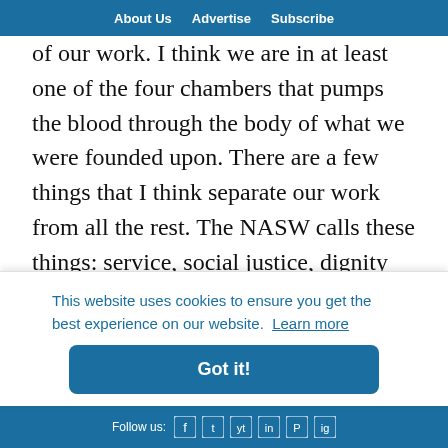About Us   Advertise   Subscribe
of our work. I think we are in at least one of the four chambers that pumps the blood through the body of what we were founded upon. There are a few things that I think separate our work from all the rest. The NASW calls these things: service, social justice, dignity and worth of the person, importance of human relationships, integrity, competence.
This website uses cookies to ensure you get the best experience on our website.  Learn more
Got it!
Follow us: